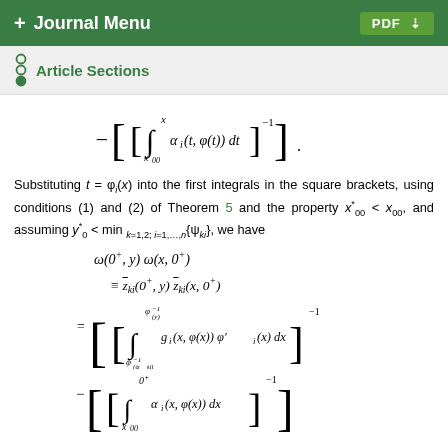+ Journal Menu  PDF ↓
Article Sections
Substituting t = φᵢ(x) into the first integrals in the square brackets, using conditions (1) and (2) of Theorem 5 and the property x*₀₀ < x₀₀, and assuming y*₀ < min_{k=1,2; i=1,...,n}{ψ_{ki}}, we have